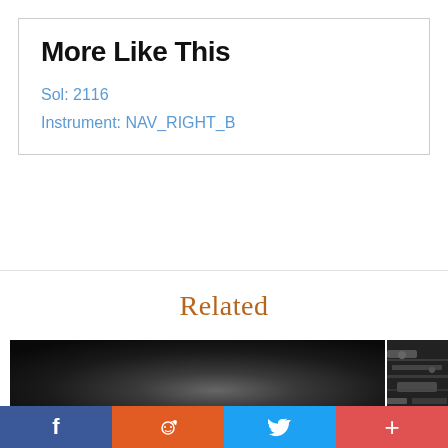More Like This
Sol: 2116
Instrument: NAV_RIGHT_B
Related
[Figure (photo): Dark grayscale Mars surface photo, mostly dark/black gradient]
[Figure (photo): Partial dark mechanical/rover component photo cropped on right side]